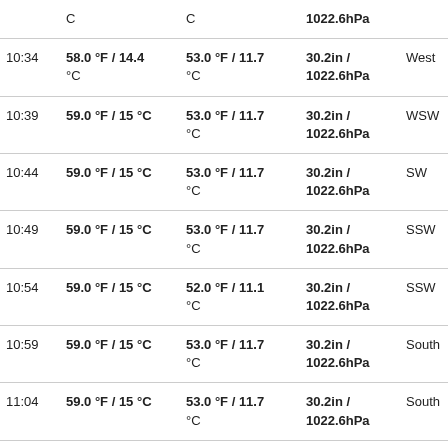| Time | Temp | Dew Point | Pressure | Wind |
| --- | --- | --- | --- | --- |
|  | C | C | 1022.6hPa |  |
| 10:34 | 58.0 °F / 14.4 °C | 53.0 °F / 11.7 °C | 30.2in / 1022.6hPa | West |
| 10:39 | 59.0 °F / 15 °C | 53.0 °F / 11.7 °C | 30.2in / 1022.6hPa | WSW |
| 10:44 | 59.0 °F / 15 °C | 53.0 °F / 11.7 °C | 30.2in / 1022.6hPa | SW |
| 10:49 | 59.0 °F / 15 °C | 53.0 °F / 11.7 °C | 30.2in / 1022.6hPa | SSW |
| 10:54 | 59.0 °F / 15 °C | 52.0 °F / 11.1 °C | 30.2in / 1022.6hPa | SSW |
| 10:59 | 59.0 °F / 15 °C | 53.0 °F / 11.7 °C | 30.2in / 1022.6hPa | South |
| 11:04 | 59.0 °F / 15 °C | 53.0 °F / 11.7 °C | 30.2in / 1022.6hPa | South |
| 11:09 | 59.0 °F / 15 °C | 52.0 °F / 11.1 °C | 30.2in / 1022.6hPa | Calm |
|  |  | 52.0 °F / 11.1 | 30.2in / |  |